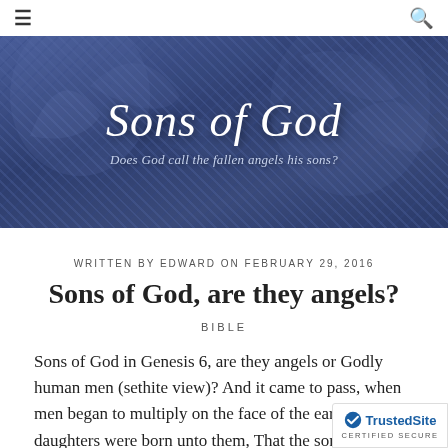≡  [search icon]
[Figure (illustration): Banner image with blue-toned engraving-style background showing angels/figures, overlaid with title 'Sons of God' in large italic serif font and subtitle 'Does God call the fallen angels his sons?']
WRITTEN BY EDWARD ON FEBRUARY 29, 2016
Sons of God, are they angels?
BIBLE
Sons of God in Genesis 6, are they angels or Godly human men (sethite view)? And it came to pass, when men began to multiply on the face of the earth, and daughters were born unto them, That the sons of God saw the daughters of men